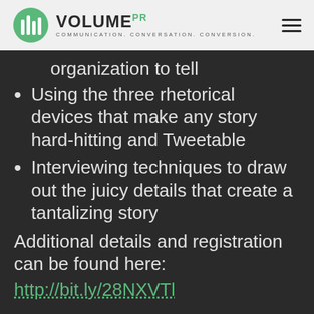VOLUME PR — COMMUNICATION. CONVERSATION. CONVERSION.
organization to tell
Using the three rhetorical devices that make any story hard-hitting and Tweetable
Interviewing techniques to draw out the juicy details that create a tantalizing story
Additional details and registration can be found here:
http://bit.ly/28NXVTl